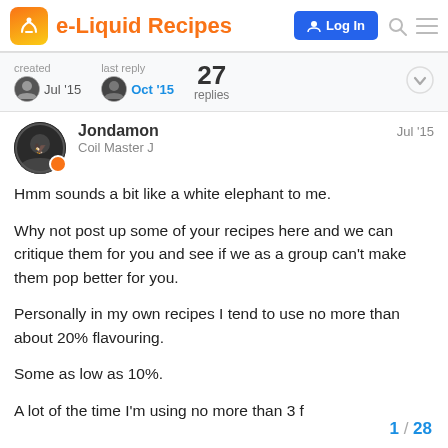e-Liquid Recipes
created Jul '15   last reply Oct '15   27 replies
Jondamon  Jul '15
Coil Master J

Hmm sounds a bit like a white elephant to me.

Why not post up some of your recipes here and we can critique them for you and see if we as a group can't make them pop better for you.

Personally in my own recipes I tend to use no more than about 20% flavouring.

Some as low as 10%.

A lot of the time I'm using no more than 3 f
1 / 28